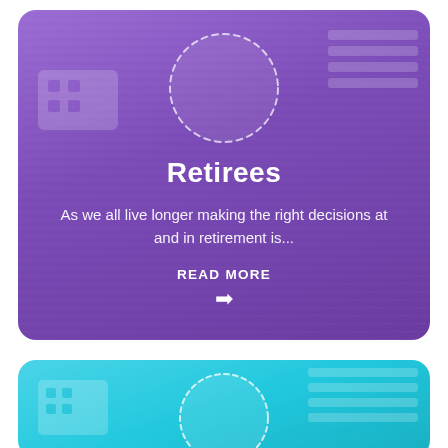[Figure (illustration): Purple rounded card with dashed circle icon at top and white text content for Retirees section]
Retirees
As we all live longer making the right decisions at and in retirement is...
READ MORE →
[Figure (illustration): Cyan/teal rounded card with dashed circle icon, partially visible at bottom of page]